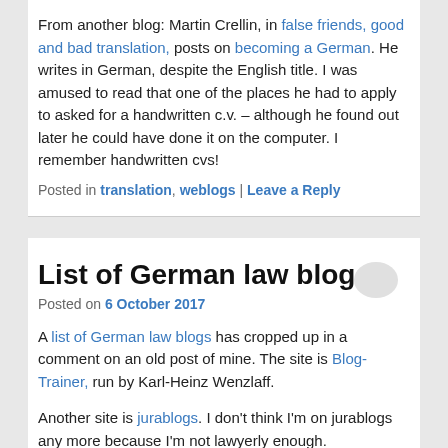From another blog: Martin Crellin, in false friends, good and bad translation, posts on becoming a German. He writes in German, despite the English title. I was amused to read that one of the places he had to apply to asked for a handwritten c.v. – although he found out later he could have done it on the computer. I remember handwritten cvs!
Posted in translation, weblogs | Leave a Reply
List of German law blogs
Posted on 6 October 2017
A list of German law blogs has cropped up in a comment on an old post of mine. The site is Blog-Trainer, run by Karl-Heinz Wenzlaff.
Another site is jurablogs. I don't think I'm on jurablogs any more because I'm not lawyerly enough.
Posted in Germany, lawyers, weblogs | Leave a Reply